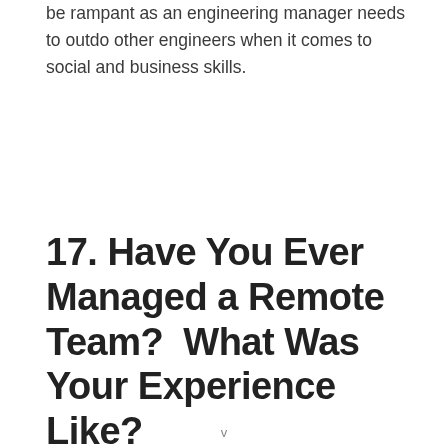be rampant as an engineering manager needs to outdo other engineers when it comes to social and business skills.
17. Have You Ever Managed a Remote Team?  What Was Your Experience Like?
v